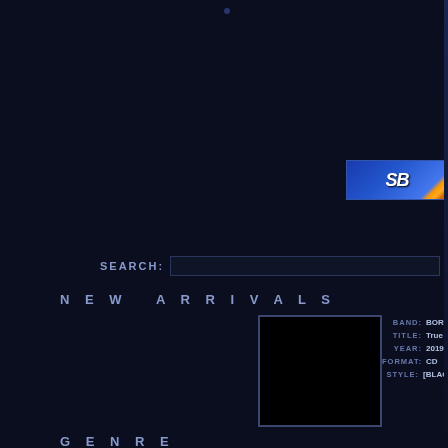[Figure (screenshot): Dark navy website background with partial logo/banner visible in upper right corner showing blue and orange graphic with stylized text]
SEARCH:
NEW ARRIVALS
[Figure (photo): Album cover art - black square image]
BAND: BOR
TITLE: True
YEAR: 2019
FORMAT: CD
STYLE: [BLAC
GENRE
11th album from '19 by...